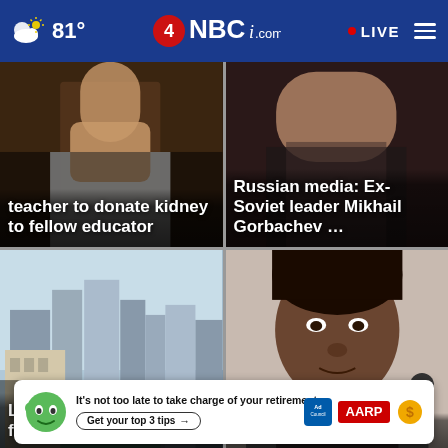NBC4i.com — 81° — LIVE
[Figure (screenshot): News tile: teacher to donate kidney to fellow educator — background photo of person]
[Figure (screenshot): News tile: Russian media: Ex-Soviet leader Mikhail Gorbachev ... — background photo of person]
[Figure (screenshot): News tile: Lawmakers debate funding for nu[rsing homes?] — background photo of Columbus Ohio downtown skyline]
[Figure (screenshot): News tile: New charges for teen i[n shooting?] — background mugshot photo of teen]
[Figure (infographic): Ad banner: AARP — It's not too late to take charge of your retirement. Get your top 3 tips. Ad Council logo.]